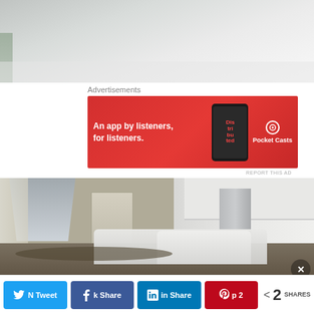[Figure (photo): Partial view of a bright interior room with white ceiling and walls, plant visible at bottom left edge]
Advertisements
[Figure (photo): Red advertisement banner for Pocket Casts: 'An app by listeners, for listeners.' with phone graphic and Pocket Casts logo]
REPORT THIS AD
[Figure (photo): Interior photo showing a dining room with a crystal chandelier, decorated dining table with white tufted chairs, and an open kitchen with white cabinets, stainless steel refrigerator in the background]
Advertisements
[Figure (photo): Partial view of a second advertisement banner (food-related)]
Twitter share button
Facebook share button
LinkedIn share button
Pinterest share button with count 2
< 2 SHARES